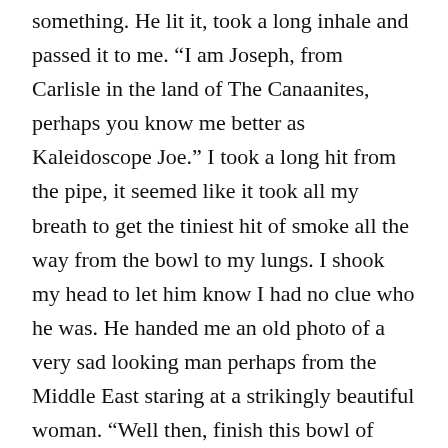something. He lit it, took a long inhale and passed it to me. “I am Joseph, from Carlisle in the land of The Canaanites, perhaps you know me better as Kaleidoscope Joe.” I took a long hit from the pipe, it seemed like it took all my breath to get the tiniest hit of smoke all the way from the bowl to my lungs. I shook my head to let him know I had no clue who he was. He handed me an old photo of a very sad looking man perhaps from the Middle East staring at a strikingly beautiful woman. “Well then, finish this bowl of ganja, I’ll tell you a story.”
Lady With A Fan
His name is August West, and he was in love with that lady there, Pearly Baker, the lady with the fan. Unfortunately Old August had a passion for sins, but